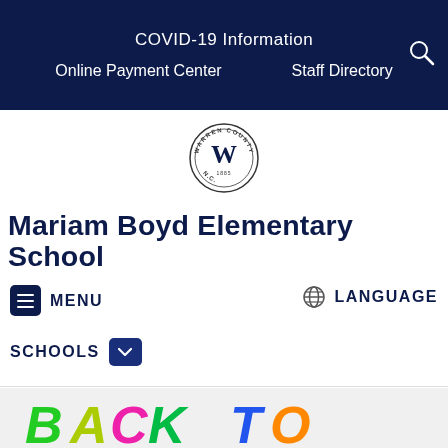COVID-19 Information | Online Payment Center | Staff Directory
[Figure (logo): Warren County Schools circular logo with 'W' in center]
Mariam Boyd Elementary School
MENU
LANGUAGE
SCHOOLS
[Figure (photo): Colorful 3D 'BACK TO SCHOOL' letters in green, yellow, pink, blue, orange colors]